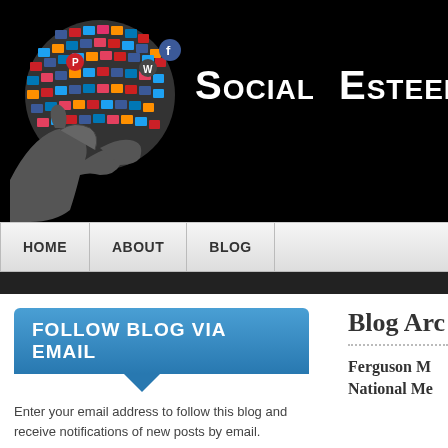[Figure (screenshot): Social Esteem Media website header with a globe made of social media icons held by hands on a black background, with the site title 'Social Esteem Media' in white bold text]
Social Esteem Media
HOME | ABOUT | BLOG
FOLLOW BLOG VIA EMAIL
Enter your email address to follow this blog and receive notifications of new posts by email.
Enter your email address
Blog Arc
Ferguson M National Me